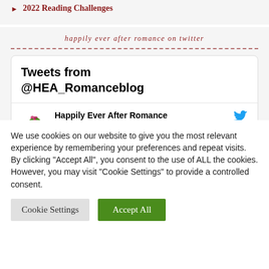2022 Reading Challenges
happily ever after romance on twitter
Tweets from @HEA_Romanceblog
Happily Ever After Romance @HEA_Romanceblog · 1h
We use cookies on our website to give you the most relevant experience by remembering your preferences and repeat visits. By clicking "Accept All", you consent to the use of ALL the cookies. However, you may visit "Cookie Settings" to provide a controlled consent.